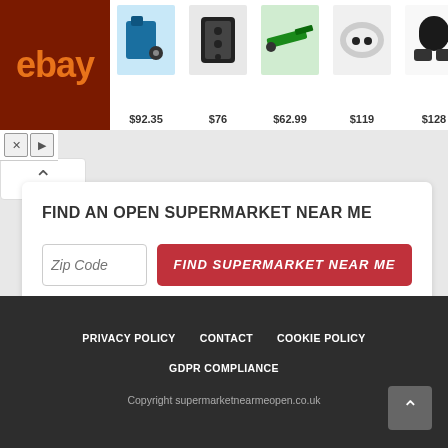[Figure (screenshot): eBay advertisement banner showing products: drill kit $92.35, speaker $76, saw $62.99, earbuds $119, headphones $128, laptop $679.99]
FIND AN OPEN SUPERMARKET NEAR ME
Zip Code input field and FIND SUPERMARKET NEAR ME button
PRIVACY POLICY   CONTACT   COOKIE POLICY
GDPR COMPLIANCE
Copyright supermarketnearmeopen.co.uk